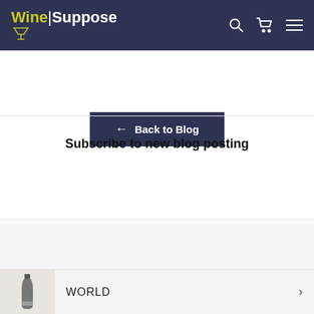Wine|Suppose
← Back to Blog
Subscribe to new blog posting
Enter your email
Home
France
WORLD